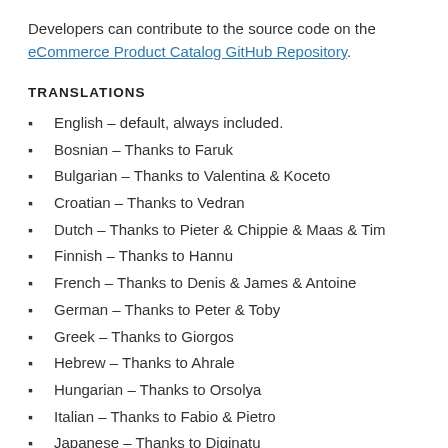Developers can contribute to the source code on the eCommerce Product Catalog GitHub Repository.
TRANSLATIONS
English – default, always included.
Bosnian – Thanks to Faruk
Bulgarian – Thanks to Valentina & Koceto
Croatian – Thanks to Vedran
Dutch – Thanks to Pieter & Chippie & Maas & Tim
Finnish – Thanks to Hannu
French – Thanks to Denis & James & Antoine
German – Thanks to Peter & Toby
Greek – Thanks to Giorgos
Hebrew – Thanks to Ahrale
Hungarian – Thanks to Orsolya
Italian – Thanks to Fabio & Pietro
Japanese – Thanks to Diginatu
Norwegian – Thanks to Oyvind